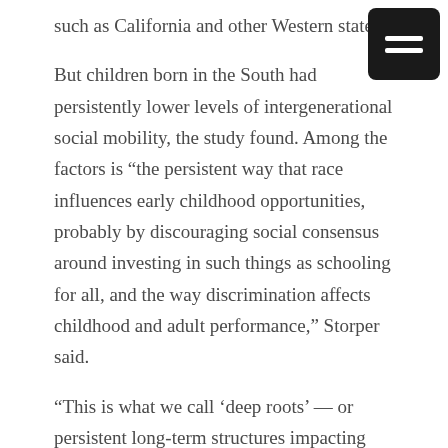such as California and other Western states.
But children born in the South had persistently lower levels of intergenerational social mobility, the study found. Among the factors is “the persistent way that race influences early childhood opportunities, probably by discouraging social consensus around investing in such things as schooling for all, and the way discrimination affects childhood and adult performance,” Storper said.
“This is what we call ‘deep roots’ — or persistent long-term structures impacting social mobility.”
Although many of the leading economic regions of the early 20th century weakened over time as springboards for intergenerational advancement,